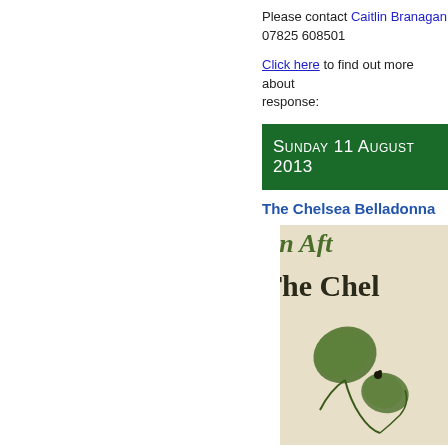Please contact Caitlin Branagan 07825 608501
Click here to find out more about response:
Sunday 11 August 2013
The Chelsea Belladonna
[Figure (illustration): Partial view of a vintage botanical poster titled 'An Aft...' and 'The Chel...' with botanical leaf and vine illustrations on a cream background]